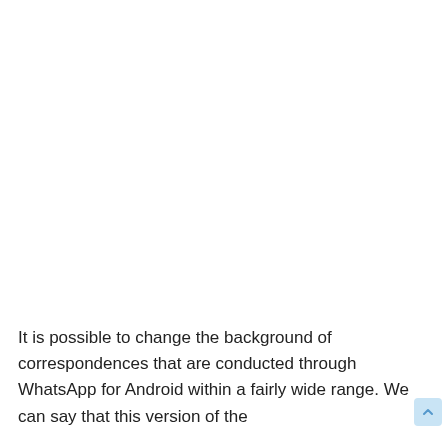It is possible to change the background of correspondences that are conducted through WhatsApp for Android within a fairly wide range. We can say that this version of the